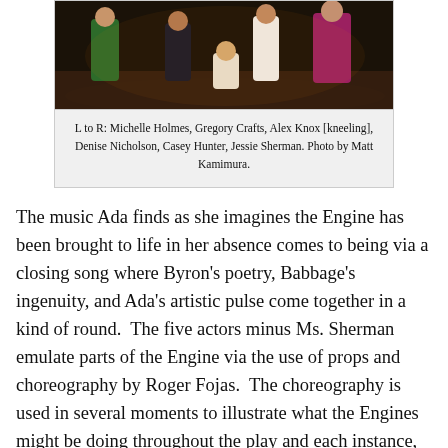[Figure (photo): Performance photo showing five actors on stage. L to R: Michelle Holmes, Gregory Crafts, Alex Knox [kneeling], Denise Nicholson, Casey Hunter, Jessie Sherman. Photo by Matt Kamimura.]
L to R: Michelle Holmes, Gregory Crafts, Alex Knox [kneeling], Denise Nicholson, Casey Hunter, Jessie Sherman. Photo by Matt Kamimura.
The music Ada finds as she imagines the Engine has been brought to life in her absence comes to being via a closing song where Byron's poetry, Babbage's ingenuity, and Ada's artistic pulse come together in a kind of round.  The five actors minus Ms. Sherman emulate parts of the Engine via the use of props and choreography by Roger Fojas.  The choreography is used in several moments to illustrate what the Engines might be doing throughout the play and each instance, save one, adds to our understanding of what Babbage and Ada are accomplishing.  There's a moment